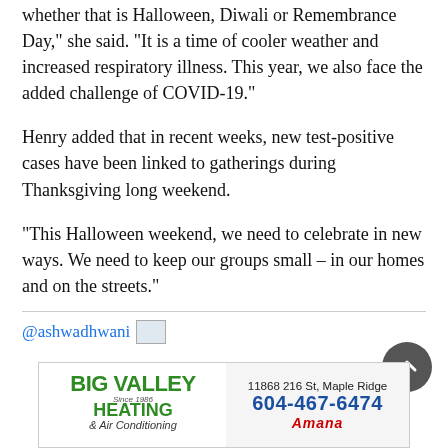"Fall is a time when many holidays and celebrations occur, whether that is Halloween, Diwali or Remembrance Day," she said. "It is a time of cooler weather and increased respiratory illness. This year, we also face the added challenge of COVID-19."
Henry added that in recent weeks, new test-positive cases have been linked to gatherings during Thanksgiving long weekend.
“This Halloween weekend, we need to celebrate in new ways. We need to keep our groups small – in our homes and on the streets.”
@ashwadhwani
[Figure (other): Advertisement for Big Valley Heating & Air Conditioning, 11868 216 St, Maple Ridge, phone 604-467-6474, with Amana logo]